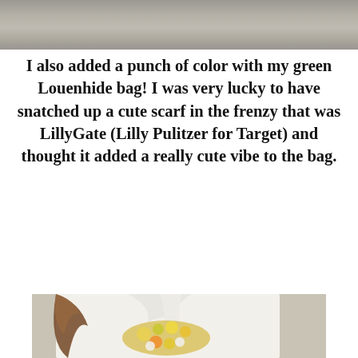[Figure (photo): Top portion of a photo showing a stone or weathered wall background, cropped at the top of the page]
I also added a punch of color with my green Louenhide bag!  I was very lucky to have snatched up a cute scarf in the frenzy that was LillyGate (Lilly Pulitzer for Target) and thought it added a really cute vibe to the bag.
[Figure (photo): Photo of a woman wearing a white button-down shirt with a large statement necklace featuring yellow, green, and orange gemstones and pearl-like beads arranged in a citrus fruit motif. Her long brown hair is visible. Background shows weathered wooden panels.]